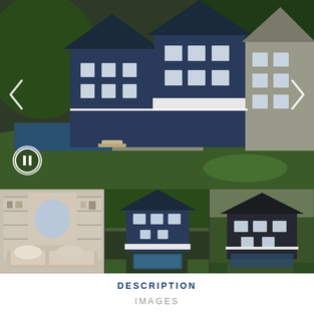[Figure (photo): Main aerial/3D rendering of a large coastal home with dark blue siding, white trim, multiple decks, pool area with patio furniture, and green lawn. Navigation arrows on left and right sides, pause button bottom-left.]
[Figure (photo): Thumbnail 1: Interior room with built-in shelving, arched windows, cushioned window seat with pillows, neutral tones.]
[Figure (photo): Thumbnail 2: Aerial 3D rendering of coastal home with pool, blue siding, white trim, surrounded by tall hedges.]
[Figure (photo): Thumbnail 3: Aerial 3D rendering of coastal home from different angle, dark roof, with pool and deck area.]
DESCRIPTION
IMAGES